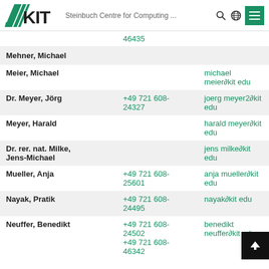KIT — Steinbuch Centre for Computing ...
| Name | Phone | Email |
| --- | --- | --- |
|  | 46435 |  |
| Mehner, Michael |  |  |
| Meier, Michael |  | michael meier∂kit edu |
| Dr. Meyer, Jörg | +49 721 608-24327 | joerg meyer2∂kit edu |
| Meyer, Harald |  | harald meyer∂kit edu |
| Dr. rer. nat. Milke, Jens-Michael |  | jens milke∂kit edu |
| Mueller, Anja | +49 721 608-25601 | anja mueller∂kit edu |
| Nayak, Pratik | +49 721 608-24495 | nayak∂kit edu |
| Neuffer, Benedikt | +49 721 608-24502
+49 721 608-46342 | benedikt neuffer∂kit edu |